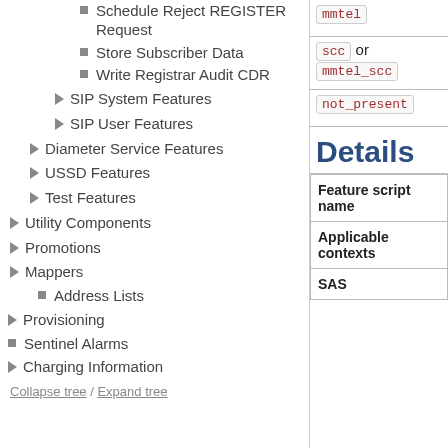Schedule Reject REGISTER Request
Store Subscriber Data
Write Registrar Audit CDR
SIP System Features
SIP User Features
Diameter Service Features
USSD Features
Test Features
Utility Components
Promotions
Mappers
Address Lists
Provisioning
Sentinel Alarms
Charging Information
Collapse tree / Expand tree
mmtel
scc or mmtel_scc
not_present
Details
| Feature script name | Applicable contexts | SAS |
| --- | --- | --- |